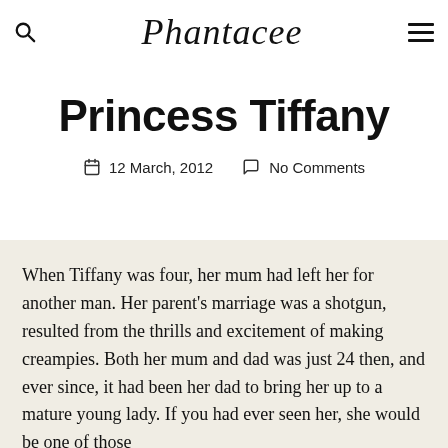Phantacee
Princess Tiffany
12 March, 2012   No Comments
When Tiffany was four, her mum had left her for another man. Her parent's marriage was a shotgun, resulted from the thrills and excitement of making creampies. Both her mum and dad was just 24 then, and ever since, it had been her dad to bring her up to a mature young lady. If you had ever seen her, she would be one of those